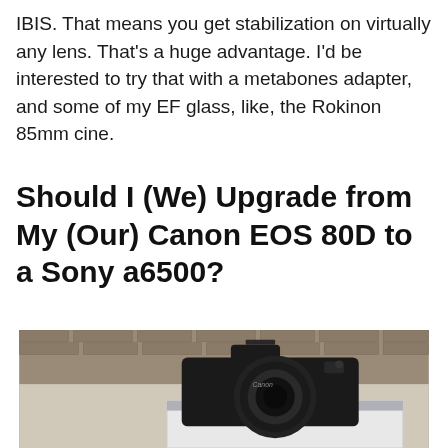IBIS. That means you get stabilization on virtually any lens. That's a huge advantage. I'd be interested to try that with a metabones adapter, and some of my EF glass, like, the Rokinon 85mm cine.
Should I (We) Upgrade from My (Our) Canon EOS 80D to a Sony a6500?
[Figure (photo): A Canon DSLR camera (Canon EOS 80D) with a lens attached, placed on a white box, photographed outdoors against a brick wall background.]